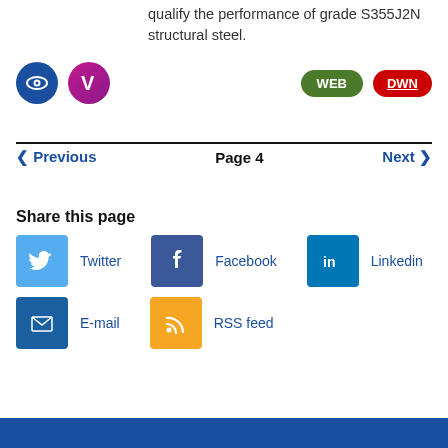qualify the performance of grade S355J2N structural steel.
[Figure (infographic): Row of icons: blue eye icon circle, purple V icon circle on left; green WEB button oval and red DWN button oval on right]
< Previous   Page 4   Next >
Share this page
[Figure (infographic): Social media share icons: Twitter (blue bird), Facebook (blue f), LinkedIn (blue in), E-mail (blue envelope), RSS feed (orange RSS symbol) with labels]